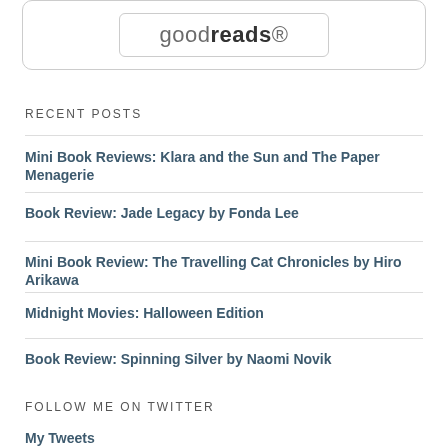[Figure (logo): Goodreads logo inside a rounded rectangle border]
RECENT POSTS
Mini Book Reviews: Klara and the Sun and The Paper Menagerie
Book Review: Jade Legacy by Fonda Lee
Mini Book Review: The Travelling Cat Chronicles by Hiro Arikawa
Midnight Movies: Halloween Edition
Book Review: Spinning Silver by Naomi Novik
FOLLOW ME ON TWITTER
My Tweets